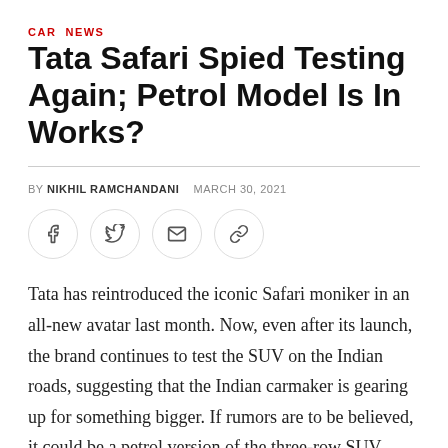CAR NEWS
Tata Safari Spied Testing Again; Petrol Model Is In Works?
BY NIKHIL RAMCHANDANI   MARCH 30, 2021
[Figure (infographic): Social sharing icons: Facebook, Twitter, Email, Link]
Tata has reintroduced the iconic Safari moniker in an all-new avatar last month. Now, even after its launch, the brand continues to test the SUV on the Indian roads, suggesting that the Indian carmaker is gearing up for something bigger. If rumors are to be believed, it could be a petrol version of the three-row SUV.